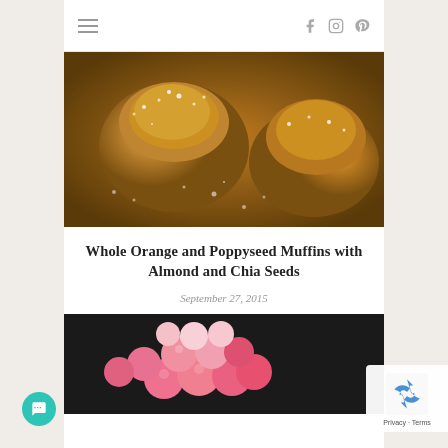Navigation bar with hamburger menu and social icons (Facebook, Instagram, Pinterest)
[Figure (photo): Powdered sugar dusted muffins with poppy seeds on a baking tray]
Whole Orange and Poppyseed Muffins with Almond and Chia Seeds
September 27, 2015
[Figure (photo): Pink and white sugary candy balls piled together]